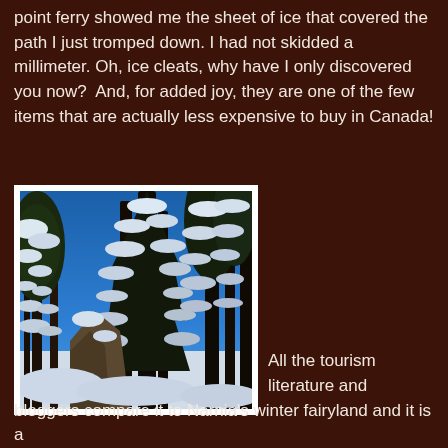point ferry showed me the sheet of ice that covered the path I just tromped down. I had not skidded a millimeter. Oh, ice cleats, why have I only discovered you now?  And, for added joy, they are one of the few items that are actually less expensive to buy in Canada!
[Figure (photo): Photograph of tall snow-covered evergreen trees against a bright blue sky, taken from a low angle looking upward. Heavy snow weighs on the dark branches. The scene resembles a winter wilderness or fairyland.]
All the tourism literature and bloggers compare it to Narnia's winter fairyland and it is a